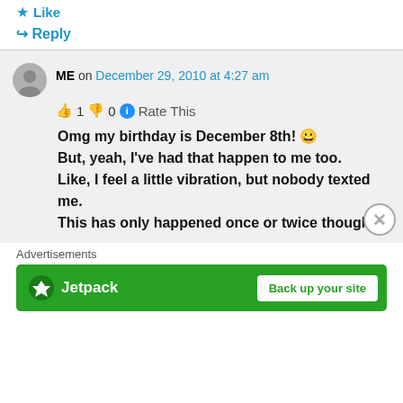⭐ Like
↪ Reply
ME on December 29, 2010 at 4:27 am
👍 1 👎 0 ℹ Rate This
Omg my birthday is December 8th! 😀 But, yeah, I've had that happen to me too. Like, I feel a little vibration, but nobody texted me. This has only happened once or twice though.
Advertisements
[Figure (logo): Jetpack advertisement banner with 'Back up your site' button on green background]